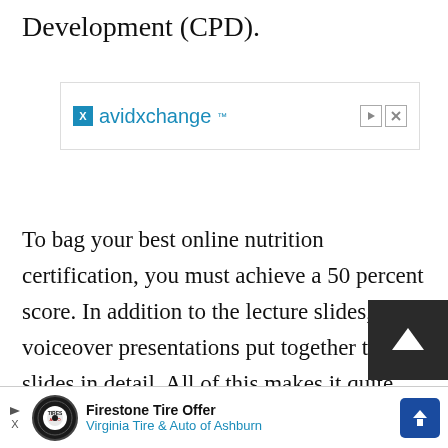Development (CPD).
[Figure (other): AvidXchange advertisement banner with logo and close/skip controls]
To bag your best online nutrition certification, you must achieve a 50 percent score. In addition to the lecture slides, voiceover presentations put together the slides in detail. All of this makes it quite engaging and intuitive
[Figure (other): Firestone Tire Offer - Virginia Tire & Auto of Ashburn advertisement banner at bottom of page]